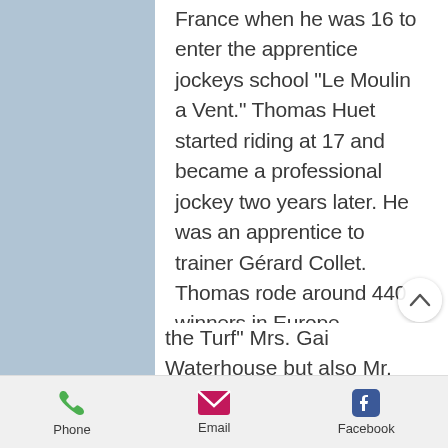France when he was 16 to enter the apprentice jockeys school "Le Moulin a Vent." Thomas Huet started riding at 17 and became a professional jockey two years later. He was an apprentice to trainer Gérard Collet. Thomas rode around 440 winners in Europe, Mauritius, and Dubai.

After a good season in 2012 with a Group 2 winner and a 5th place in the famous Prix du Jockey Club, Thomas booked a ticket for Sydney, Australia, and planned to stay 3 months during the winter season. However, Thomas felt comfortable in Australia and he decided to stay and spent 4 years at Randwick, NSW mostly working for the famous trainer "Queen of the Turf" Mrs. Gai Waterhouse but also Mr. Paul Perry and Mr. Peter Snowden with good memories with Artistry with which he
Phone  Email  Facebook